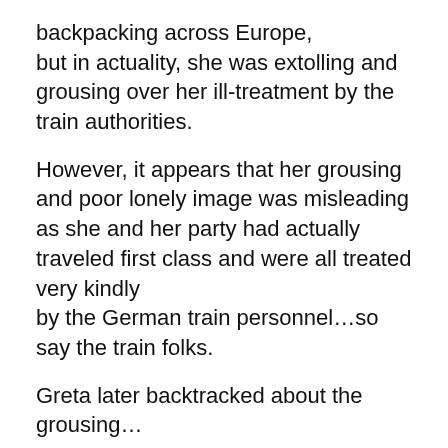backpacking across Europe, but in actuality, she was extolling and grousing over her ill-treatment by the train authorities.
However, it appears that her grousing and poor lonely image was misleading as she and her party had actually traveled first class and were all treated very kindly by the German train personnel…so say the train folks.
Greta later backtracked about the grousing…
Hummm…
She has addressed world leaders while being highly disrespectful regarding the US President… but hey, that's not unusual as everyone seems